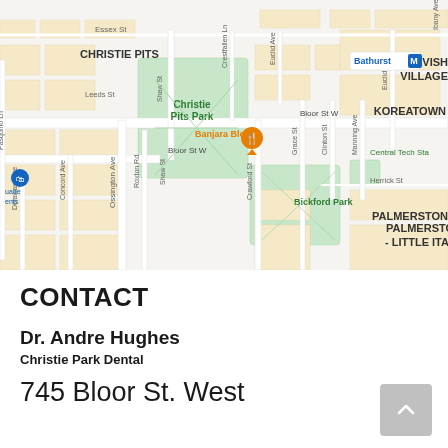[Figure (map): Google Maps view of Christie Pits area in Toronto, showing Christie Pits Park, Bickford Park, Koreatown, Mirvish Village, Palmerston - Little Italy, Bathurst subway station, and surrounding streets including Bloor St W, Shaw St, Crawford St, Ossington Ave, and others. An orange restaurant pin labeled 'Banjara Bloor' is visible near Christie Pits Park.]
CONTACT
Dr. Andre Hughes
Christie Park Dental
745 Bloor St. West